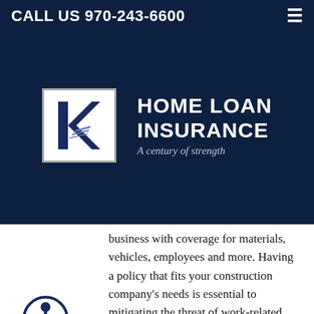CALL US 970-243-6600
[Figure (logo): Home Loan Insurance logo with stylized K letter mark in navy and white, company name in white bold text, tagline 'A century of strength' in italic]
business with coverage for materials, vehicles, employees and more. Having a policy that fits your construction company's needs is essential to mitigating the threat of work-related accidents and other unexpected accidents.
Basic Construction Coverage
General Liability: A broad type of policy which provides your company with liability insurance for general business risks.
Commercial Auto: Covers physical damage and liability coverages for vehicles used by